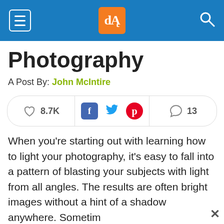dPS [logo] — navigation header
Photography
A Post By: John McIntire
[Figure (infographic): Social share bar with heart/like count 8.7K, Facebook, Twitter, Pinterest icons, and comment count 13]
When you’re starting out with learning how to light your photography, it’s easy to fall into a pattern of blasting your subjects with light from all angles. The results are often bright images without a hint of a shadow anywhere. Sometime